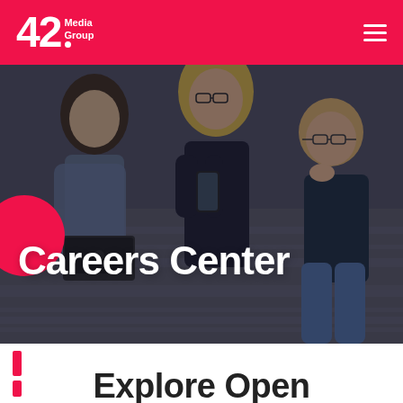[Figure (logo): 42 Media Group logo in white on pink/red header background]
[Figure (photo): Three young people sitting on outdoor steps, one holding a laptop, one holding a phone, smiling and talking. Dark overlay with 'Careers Center' text overlaid. Pink decorative circle on left side.]
Careers Center
Explore Open